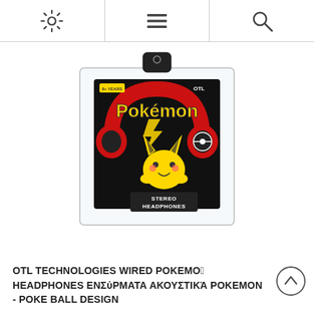Settings | Menu | Search navigation icons
[Figure (photo): Pokemon Pikachu OTL Technologies wired stereo headphones product in clear box packaging with red/black Pokeball design and Pikachu character artwork]
OTL TECHNOLOGIES WIRED POKEMON HEADPHONES ΕΝΣΎΡΜΑΤΑ ΑΚΟΥΣΤΙΚΆ POKEMON - POKE BALL DESIGN